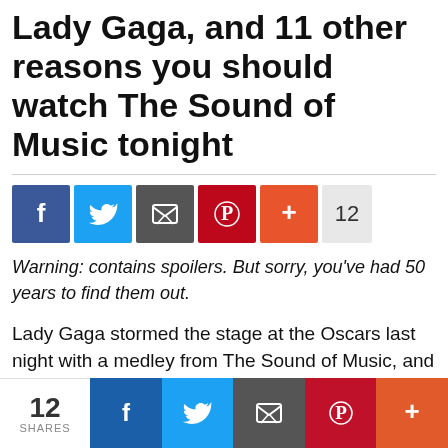Lady Gaga, and 11 other reasons you should watch The Sound of Music tonight
[Figure (infographic): Social share buttons: Facebook (blue), Twitter (blue), Email (dark grey), Pinterest (red), More/Plus (orange-red), share count 12]
Warning: contains spoilers. But sorry, you've had 50 years to find them out.
Lady Gaga stormed the stage at the Oscars last night with a medley from The Sound of Music, and it was surprisingly beautiful. First it reminded us that, odd sudo-
We use cookies on our website to give you the most relevant
Privacy & Cookies: This site uses cookies. By continuing to use this website, you agree to their use.
To find out more, including how to control cookies, see here: Cookie Policy
[Figure (infographic): Bottom share bar: 12 SHARES, Facebook, Twitter, Email, Pinterest, More buttons]